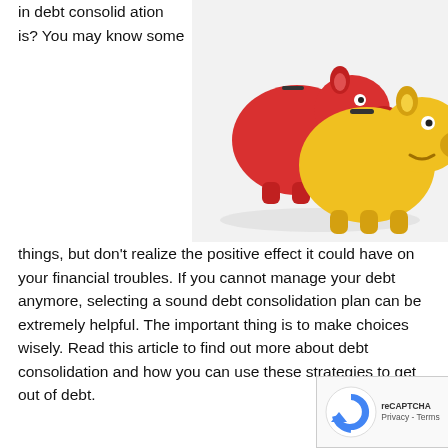[Figure (photo): Red and yellow piggy banks (ceramic coin banks) against a white background, photographed from above/side angle]
in debt consolidation is? You may know some things, but don't realize the positive effect it could have on your financial troubles. If you cannot manage your debt anymore, selecting a sound debt consolidation plan can be extremely helpful. The important thing is to make choices wisely. Read this article to find out more about debt consolidation and how you can use these strategies to get out of debt.
Just because a company calls itself nonprofit doesn't mean they are the best choice.Some predatory lenders use that term to get away with giving you loan terms that are considered quite unfavorable. Check the BBB or go wi... personally recommended group.